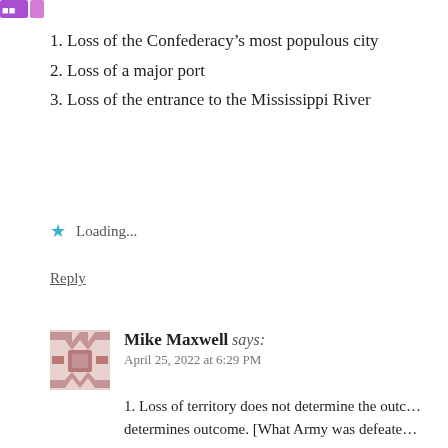[Figure (logo): Purple/magenta logo graphic in top left corner]
1. Loss of the Confederacy’s most populous city
2. Loss of a major port
3. Loss of the entrance to the Mississippi River
★  Loading...
Reply
[Figure (illustration): Square pixelated/mosaic avatar icon in muted rose/mauve color]
Mike Maxwell says:
April 25, 2022 at 6:29 PM
1. Loss of territory does not determine the outc… determines outcome. [What Army was defeate…
2. Although the Confederacy lost the major po… port of Mobile until the end of the war. [One e… developments initiated at New Orleans found t…
3. The loss of the lower Mississippi… The So… other ports, along with railroads and rivers co… New Orleans.